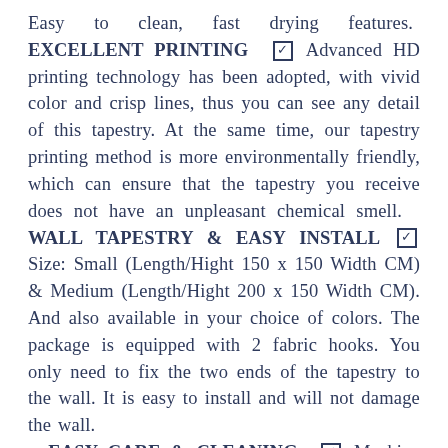Easy to clean, fast drying features. EXCELLENT PRINTING ☑ Advanced HD printing technology has been adopted, with vivid color and crisp lines, thus you can see any detail of this tapestry. At the same time, our tapestry printing method is more environmentally friendly, which can ensure that the tapestry you receive does not have an unpleasant chemical smell. WALL TAPESTRY & EASY INSTALL ☑ Size: Small (Length/Hight 150 x 150 Width CM) & Medium (Length/Hight 200 x 150 Width CM). And also available in your choice of colors. The package is equipped with 2 fabric hooks. You only need to fix the two ends of the tapestry to the wall. It is easy to install and will not damage the wall. EASY CARE & CLEANING ☑ Machine washable in cold water and tumble dry on low. Fade, stain, shrink and wrinkle resistant. Ironing at low